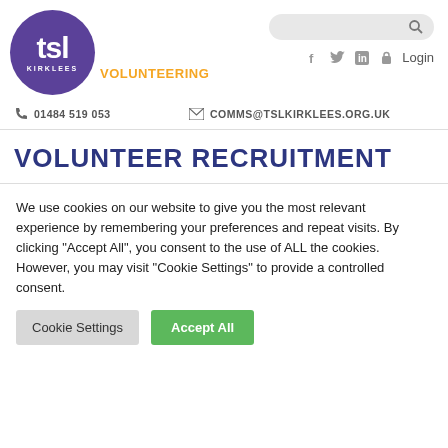[Figure (logo): TSL Kirklees Volunteering logo - purple circle with white 'tsl' text and 'KIRKLEES' below, orange 'VOLUNTEERING' text to the right]
[Figure (infographic): Search bar (rounded grey rectangle with magnifying glass icon) and social media icons (Facebook, Twitter, LinkedIn) plus Login link]
01484 519 053
COMMS@TSLKIRKLEES.ORG.UK
VOLUNTEER RECRUITMENT
We use cookies on our website to give you the most relevant experience by remembering your preferences and repeat visits. By clicking “Accept All”, you consent to the use of ALL the cookies. However, you may visit “Cookie Settings” to provide a controlled consent.
Cookie Settings
Accept All